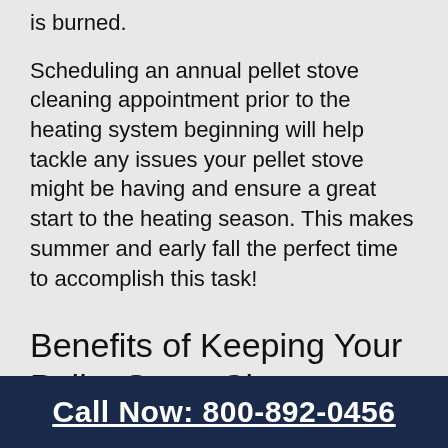is burned.
Scheduling an annual pellet stove cleaning appointment prior to the heating system beginning will help tackle any issues your pellet stove might be having and ensure a great start to the heating season. This makes summer and early fall the perfect time to accomplish this task!
Benefits of Keeping Your Pellet Stove Clean
There are several benefits of annual maintenance of your pellet stove.
Call Now: 800-892-0456